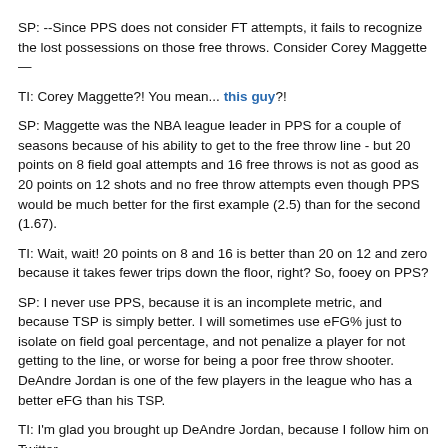SP:  --Since PPS does not consider FT attempts, it fails to recognize the lost possessions on those free throws. Consider Corey Maggette—
TI:  Corey Maggette?!  You mean... this guy?!
SP: Maggette was the NBA league leader in PPS for a couple of seasons because of his ability to get to the free throw line - but 20 points on 8 field goal attempts and 16 free throws is not as good as 20 points on 12 shots and no free throw attempts even though PPS would be much better for the first example (2.5) than for the second (1.67).
TI: Wait, wait! 20 points on 8 and 16 is better than 20 on 12 and zero because it takes fewer trips down the floor, right? So, fooey on PPS?
SP: I never use PPS, because it is an incomplete metric, and because TSP is simply better. I will sometimes use eFG% just to isolate on field goal percentage, and not penalize a player for not getting to the line, or worse for being a poor free throw shooter. DeAndre Jordan is one of the few players in the league who has a better eFG than his TSP.
TI: I'm glad you brought up DeAndre Jordan, because I follow him on Twitter.